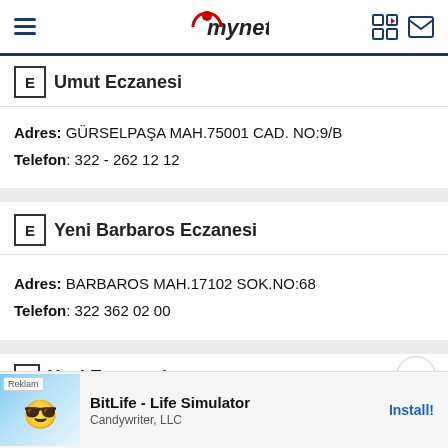mynet
Umut Eczanesi
Adres: GÜRSELPAŞA MAH.75001 CAD. NO:9/B
Telefon: 322 - 262 12 12
Yeni Barbaros Eczanesi
Adres: BARBAROS MAH.17102 SOK.NO:68
Telefon: 322 362 02 00
Yeni Eczanesi